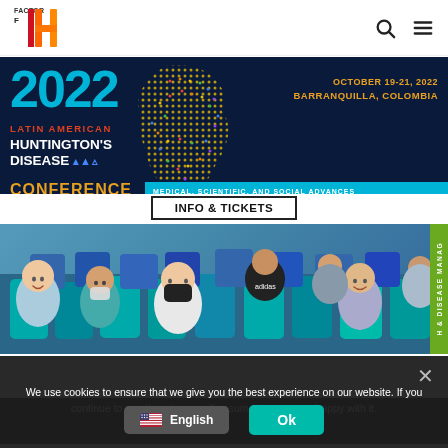Factor H logo | search icon | menu icon
[Figure (infographic): 2022 Latin American Huntington's Disease Conference banner with dotted map of South America, date October 19-21 2022, Barranquilla Colombia, Medical Scientific and Social Advances]
INFO & TICKETS
[Figure (photo): Group of young people seated, some wearing face masks, at a conference or event]
H & DISEASE MANAGE (vertical side tab)
We use cookies to ensure that we give you the best experience on our website. If you continue to use this site we will assume that you are happy with it.
English | Ok